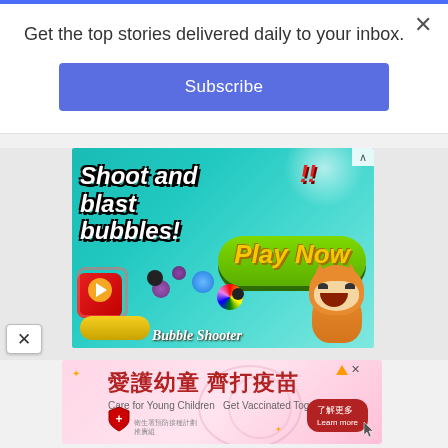Get the top stories delivered daily to your inbox.
Subscribe
[Figure (screenshot): Bubble Shooter mobile game advertisement showing colorful bubbles, a cartoon fox, 'Shoot and blast bubbles!' text, and a 'Play Now' button on a teal background]
[Figure (advertisement): Pink advertisement banner in Chinese and English: '愛護幼童 齊打疫苗' / 'Care for Young Children Get Vaccinated Together' with a Learn More button]